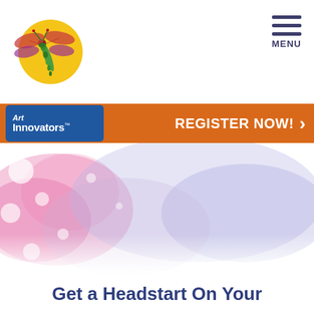[Figure (logo): Art Innovators dragonfly logo with colorful dragonfly over a yellow sun]
[Figure (other): Hamburger menu icon with three horizontal lines and MENU text below]
[Figure (logo): Art Innovators text logo in blue rounded rectangle on orange banner]
REGISTER NOW!
[Figure (illustration): Watercolor splash background with pink, purple, and lavender tones with bokeh circles]
Get a Headstart On Your